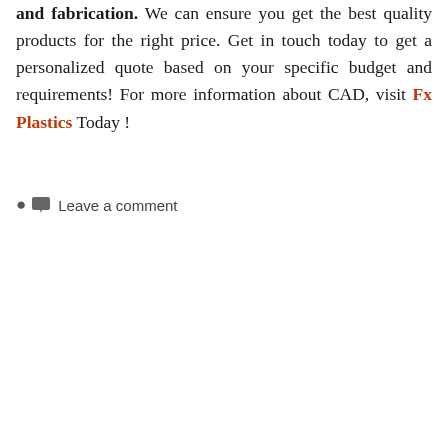and fabrication. We can ensure you get the best quality products for the right price. Get in touch today to get a personalized quote based on your specific budget and requirements! For more information about CAD, visit Fx Plastics Today !
Leave a comment